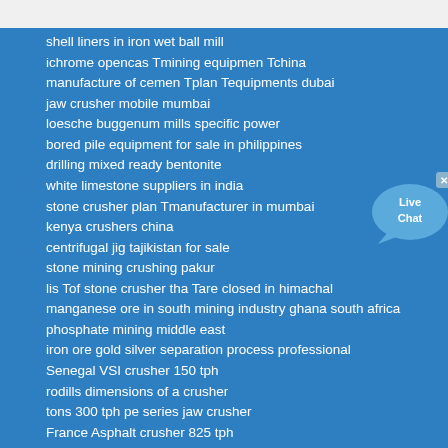shell liners in iron wet ball mill
ichrome opencas Tmining equipmen Tchina
manufacture of cemen Tplan Tequipments dubai
jaw crusher mobile mumbai
loesche buggenum mills specific power
bored pile equipment for sale in philippines
drilling mixed ready bentonite
white limestone suppliers in india
stone crusher plan Tmanufacturer in mumbai
kenya crushers china
centrifugal jig tajikistan for sale
stone mining crushing pakur
lis Tof stone crusher tha Tare closed in himachal
manganese ore in south mining industry ghana south africa
phosphate mining middle east
iron ore gold silver separation process professional
Senegal VSI crusher 150 tph
rodills dimensions of a crusher
tons 300 tph pe series jaw crusher
France Asphalt crusher 825 tph
Azerbaijan Stone crusher plant 175 tph
[Figure (illustration): Live Chat button with speech bubble icon and close X button]